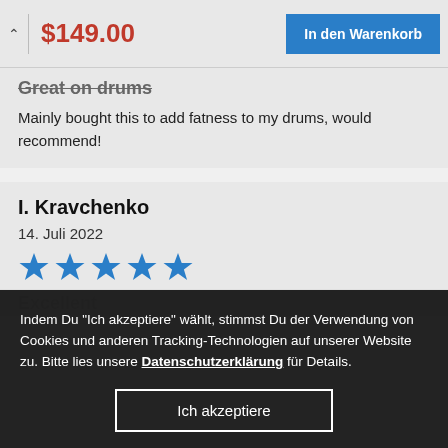$149.00
In den Warenkorb
Great on drums
Mainly bought this to add fatness to my drums, would recommend!
I. Kravchenko
14. Juli 2022
[Figure (other): 5 blue star rating icons]
Excellent
Indem Du "Ich akzeptiere" wählt, stimmst Du der Verwendung von Cookies und anderen Tracking-Technologien auf unserer Website zu. Bitte lies unsere Datenschutzerklärung für Details.
Ich akzeptiere